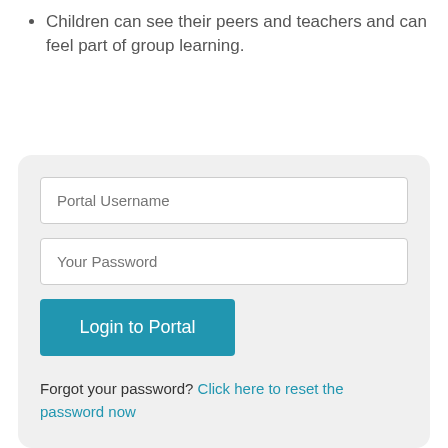Children can see their peers and teachers and can feel part of group learning.
[Figure (screenshot): A login form with fields for Portal Username and Your Password, a Login to Portal button, and a Forgot your password? link.]